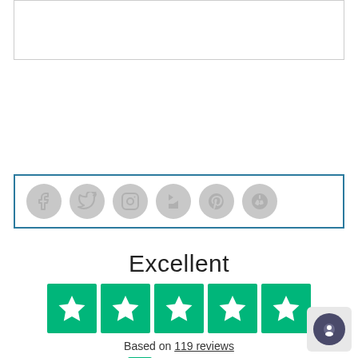[Figure (other): Empty white box with thin border at top of page]
[Figure (other): Social media icon bar with Facebook, Twitter, Instagram, Houzz, Pinterest, and Yelp circular grey icons inside a teal-bordered box]
Excellent
[Figure (other): Five green Trustpilot star rating boxes]
Based on 119 reviews
[Figure (logo): Trustpilot logo with green star and black text]